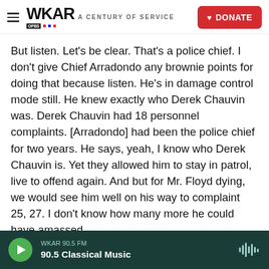WKAR A CENTURY OF SERVICE | DONATE
But listen. Let's be clear. That's a police chief. I don't give Chief Arradondo any brownie points for doing that because listen. He's in damage control mode still. He knew exactly who Derek Chauvin was. Derek Chauvin had 18 personnel complaints. [Arradondo] had been the police chief for two years. He says, yeah, I know who Derek Chauvin is. Yet they allowed him to stay in patrol, live to offend again. And but for Mr. Floyd dying, we would see him well on his way to complaint 25, 27. I don't know how many more he could have amassed.
I'm curious. When these sorts of incidents happen,
WKAR 90.5 FM | 90.5 Classical Music